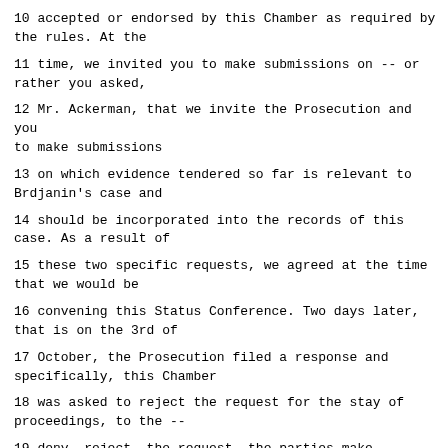10 accepted or endorsed by this Chamber as required by the rules. At the
11 time, we invited you to make submissions on -- or rather you asked,
12 Mr. Ackerman, that we invite the Prosecution and you to make submissions
13 on which evidence tendered so far is relevant to Brdjanin's case and
14 should be incorporated into the records of this case. As a result of
15 these two specific requests, we agreed at the time that we would be
16 convening this Status Conference. Two days later, that is on the 3rd of
17 October, the Prosecution filed a response and specifically, this Chamber
18 was asked to reject the request for the stay of proceedings, to the --
19 deny, reject, the request, the parties make submissions regarding the
20 relevance of evidence which had already been